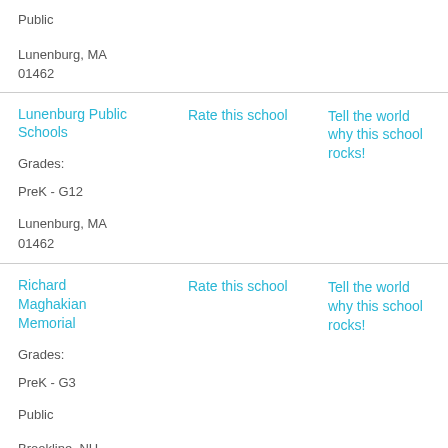Public
Lunenburg, MA
01462
Lunenburg Public Schools
Rate this school
Tell the world why this school rocks!
Grades:
PreK - G12
Lunenburg, MA
01462
Richard Maghakian Memorial
Rate this school
Tell the world why this school rocks!
Grades:
PreK - G3
Public
Brookline, NH
03033